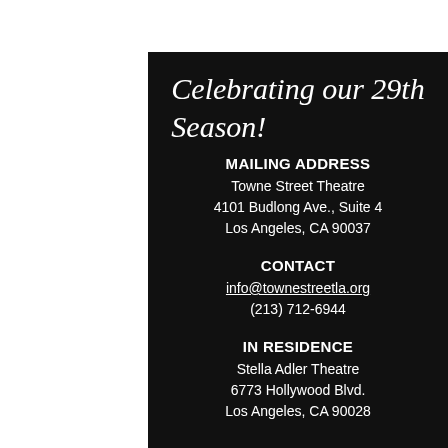Celebrating our 29th Season!
MAILING ADDRESS
Towne Street Theatre
4101 Budlong Ave., Suite 4
Los Angeles, CA 90037
CONTACT
info@townestreetla.org
(213) 712-6944
IN RESIDENCE
Stella Adler Theatre
6773 Hollywood Blvd.
Los Angeles, CA 90028